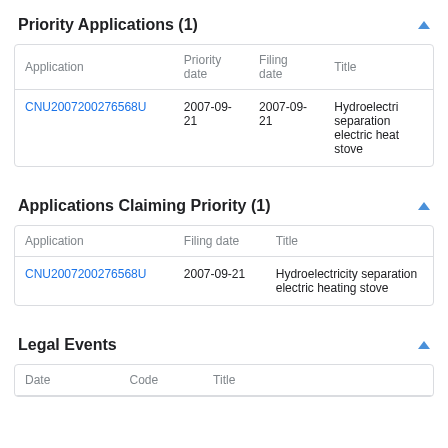Priority Applications (1)
| Application | Priority date | Filing date | Title |
| --- | --- | --- | --- |
| CNU20072002765​68U | 2007-09-21 | 2007-09-21 | Hydroelectri separation electric heat stove |
Applications Claiming Priority (1)
| Application | Filing date | Title |
| --- | --- | --- |
| CNU20072002765​68U | 2007-09-21 | Hydroelectricity separation electric heating stove |
Legal Events
| Date | Code | Title |
| --- | --- | --- |